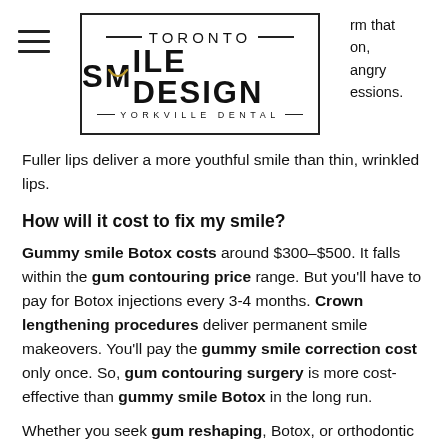[Figure (logo): Toronto Smile Design Yorkville Dental logo in a rectangular border]
rm that on, angryessions.
Fuller lips deliver a more youthful smile than thin, wrinkled lips.
How will it cost to fix my smile?
Gummy smile Botox costs around $300–$500. It falls within the gum contouring price range. But you'll have to pay for Botox injections every 3-4 months. Crown lengthening procedures deliver permanent smile makeovers. You'll pay the gummy smile correction cost only once. So, gum contouring surgery is more cost-effective than gummy smile Botox in the long run.
Whether you seek gum reshaping, Botox, or orthodontic treatment, choose a qualified cosmetic dentist for gummy smile correction. You can search "gum contouring near me" or "gummy smile Botox near me" to find the best